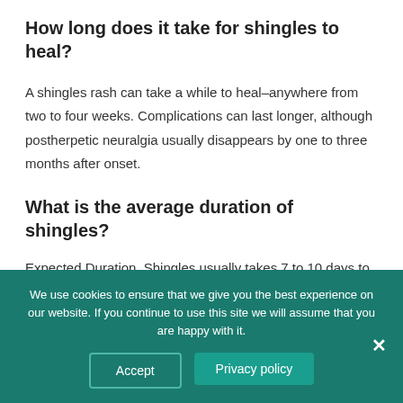How long does it take for shingles to heal?
A shingles rash can take a while to heal–anywhere from two to four weeks. Complications can last longer, although postherpetic neuralgia usually disappears by one to three months after onset.
What is the average duration of shingles?
Expected Duration. Shingles usually takes 7 to 10 days to run its course, although blisters may take several weeks to
We use cookies to ensure that we give you the best experience on our website. If you continue to use this site we will assume that you are happy with it.
Accept
Privacy policy